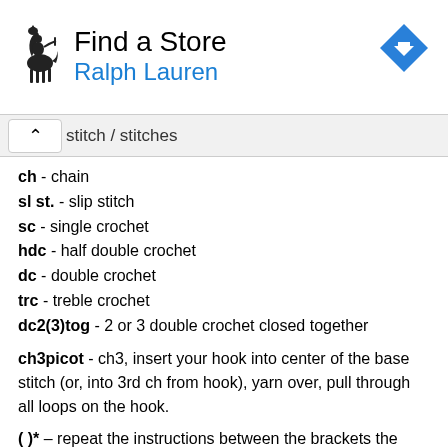[Figure (screenshot): Ralph Lauren 'Find a Store' advertisement banner with polo horse logo and blue direction arrow icon]
stitch / stitches
ch - chain
sl st. - slip stitch
sc - single crochet
hdc - half double crochet
dc - double crochet
trc - treble crochet
dc2(3)tog - 2 or 3 double crochet closed together
ch3picot - ch3, insert your hook into center of the base stitch (or, into 3rd ch from hook), yarn over, pull through all loops on the hook.
( )* – repeat the instructions between the brackets the number of times indicated.